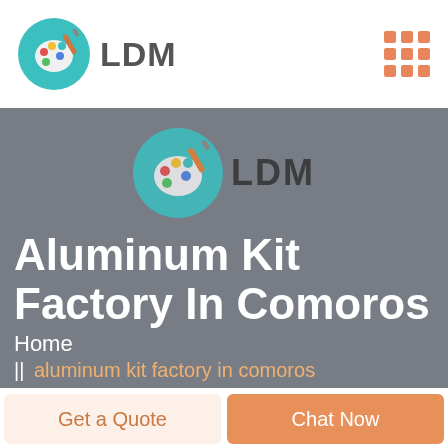LDM
Aluminum Kit Factory In Comoros
Home
aluminum kit factory in comoros
Get a Quote
Chat Now